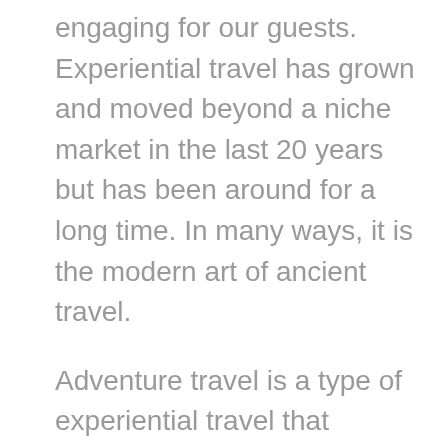engaging for our guests. Experiential travel has grown and moved beyond a niche market in the last 20 years but has been around for a long time. In many ways, it is the modern art of ancient travel.
Adventure travel is a type of experiential travel that combines nature, culture and activities with a sense of adventure. It often involves some physical or mental exertion and a willingness to step outside of one's comfort zone. We see adventure as doing things that are new and different for each of us, doing things that can be a little scary but that also make